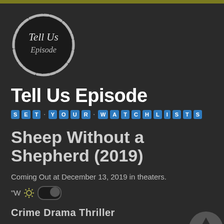[Figure (logo): Circular logo with hand-drawn ink border, dark background, text 'Tell Us Episode' in italic serif font]
Tell Us Episode
SET · YOUR · WATCHLISTS
Sheep Without a Shepherd (2019)
Coming Out at December 13, 2019 in theaters.
"W
Crime  Drama  Thriller